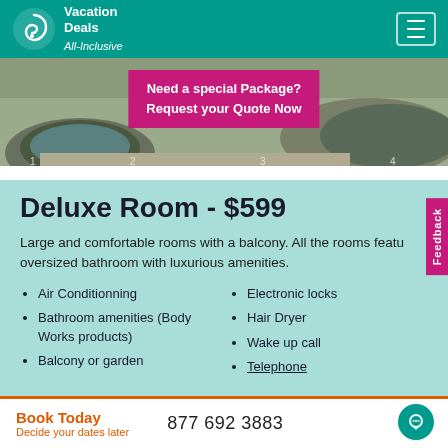Vacation Deals All-Inclusive
[Figure (photo): Hotel pool area with circular stone surround. Overlay banner: 'Need a special Package? Request your Quote Now']
Deluxe Room - $599
Large and comfortable rooms with a balcony. All the rooms feature oversized bathroom with luxurious amenities.
Air Conditionning
Bathroom amenities (Body Works products)
Balcony or garden
Electronic locks
Hair Dryer
Wake up call
Telephone
Book Today   Decide your dates later   877 692 3883